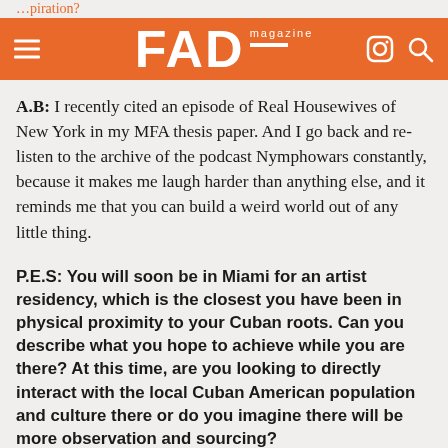FAD magazine
A.B: I recently cited an episode of Real Housewives of New York in my MFA thesis paper. And I go back and re-listen to the archive of the podcast Nymphowars constantly, because it makes me laugh harder than anything else, and it reminds me that you can build a weird world out of any little thing.
P.E.S: You will soon be in Miami for an artist residency, which is the closest you have been in physical proximity to your Cuban roots. Can you describe what you hope to achieve while you are there? At this time, are you looking to directly interact with the local Cuban American population and culture there or do you imagine there will be more observation and sourcing?
A.B: When I'm at Fountainhead I'm hoping to get really in touch with the actual land. I have a lot of ideas that